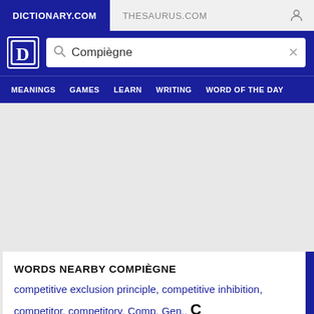DICTIONARY.COM | THESAURUS.COM
[Figure (screenshot): Dictionary.com logo with letter D in white on blue background]
Compiègne
MEANINGS  GAMES  LEARN  WRITING  WORD OF THE DAY
WORDS NEARBY COMPIÈGNE
competitive exclusion principle, competitive inhibition, competitor, competitory, Comp. Gen., C